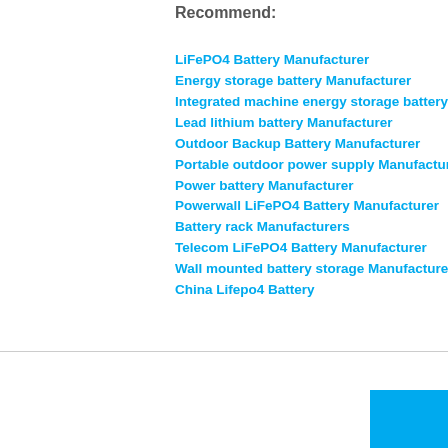Recommend:
LiFePO4 Battery Manufacturer
Energy storage battery Manufacturer
Integrated machine energy storage battery series Manufacturer
Lead lithium battery Manufacturer
Outdoor Backup Battery Manufacturer
Portable outdoor power supply Manufacturer
Power battery Manufacturer
Powerwall LiFePO4 Battery Manufacturer
Battery rack Manufacturers
Telecom LiFePO4 Battery Manufacturer
Wall mounted battery storage Manufacturer
China Lifepo4 Battery